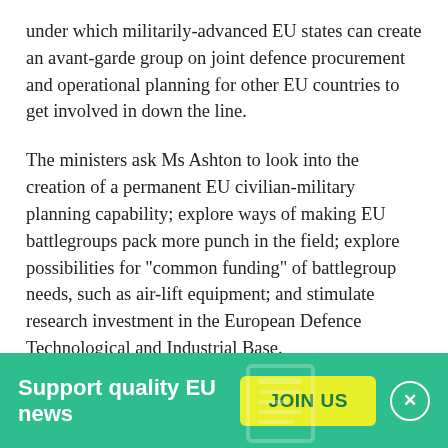under which militarily-advanced EU states can create an avant-garde group on joint defence procurement and operational planning for other EU countries to get involved in down the line.
The ministers ask Ms Ashton to look into the creation of a permanent EU civilian-military planning capability; explore ways of making EU battlegroups pack more punch in the field; explore possibilities for "common funding" of battlegroup needs, such as air-lift equipment; and stimulate research investment in the European Defence Technological and Industrial Base.
The three countries urge the British baroness to launch
[Figure (infographic): Green banner at the bottom with text 'Support quality EU news', a yellow JOIN US button, a close (X) button, and a faint newspaper icon watermark.]